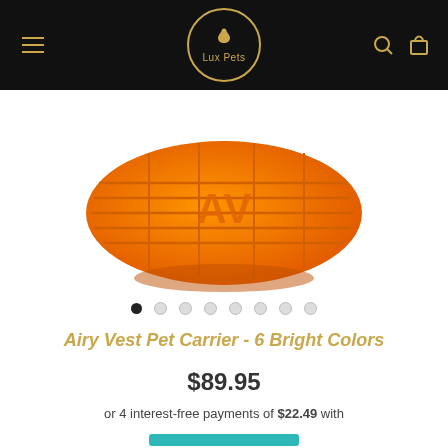Lux Pets
[Figure (photo): Orange quilted Airy Vest pet carrier with AV logo embossed on the side, viewed from the bottom/side angle.]
Airy Vest Pet Carrier - 6 Bright Colors
$89.95
or 4 interest-free payments of $22.49 with